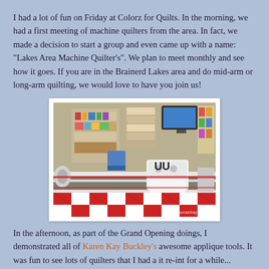I had a lot of fun on Friday at Colorz for Quilts. In the morning, we had a first meeting of machine quilters from the area. In fact, we made a decision to start a group and even came up with a name: "Lakes Area Machine Quilter's". We plan to meet monthly and see how it goes. If you are in the Brainerd Lakes area and do mid-arm or long-arm quilting, we would love to have you join us!
[Figure (photo): Interior of a quilt shop with a long-arm quilting machine in the foreground loaded with a red and white patchwork quilt. The background shows shelving with fabric and quilting supplies.]
In the afternoon, as part of the Grand Opening doings, I demonstrated all of Karen Kay Buckley's awesome applique tools. It was fun to see lots of quilters that I had a it re-int for a while...